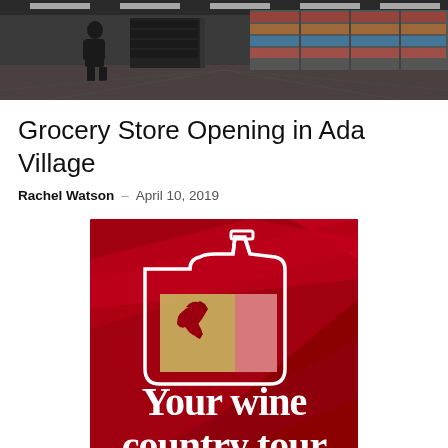[Figure (photo): Interior of a grocery store with shelves stocked with products, a person visible in the aisle]
Grocery Store Opening in Ada Village
Rachel Watson – April 10, 2019
[Figure (illustration): Wine country tour advertisement with red background, outline of a wine bottle, Michigan state map silhouette in gold/red label, and text 'Your wine country tour']